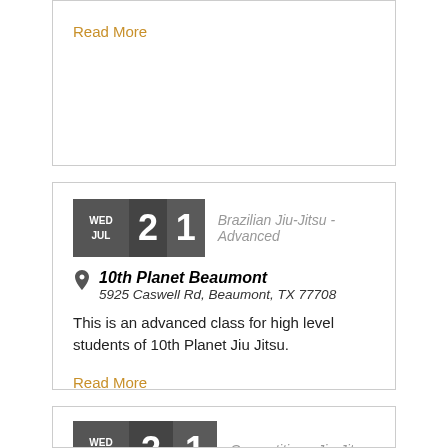Read More
Brazilian Jiu-Jitsu - Advanced
10th Planet Beaumont
5925 Caswell Rd, Beaumont, TX 77708
This is an advanced class for high level students of 10th Planet Jiu Jitsu.
Read More
Competition - Jiu-Jitsu
10th Planet Beaumont